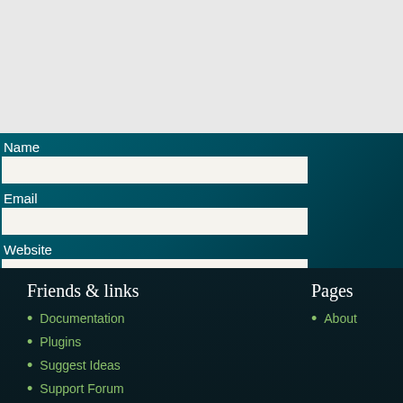Name
Email
Website
Post Comment
Friends & links
Documentation
Plugins
Suggest Ideas
Support Forum
Pages
About